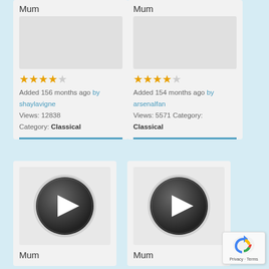Mum
Mum
★★★★☆ Added 156 months ago by shaylavigne Views: 12838 Category: Classical
★★★★☆ Added 154 months ago by arsenalfan Views: 5571 Category: Classical
[Figure (illustration): Play button thumbnail for Mum]
Mum
[Figure (illustration): Play button thumbnail for Mum]
Mum
[Figure (logo): reCAPTCHA badge with Privacy - Terms text]